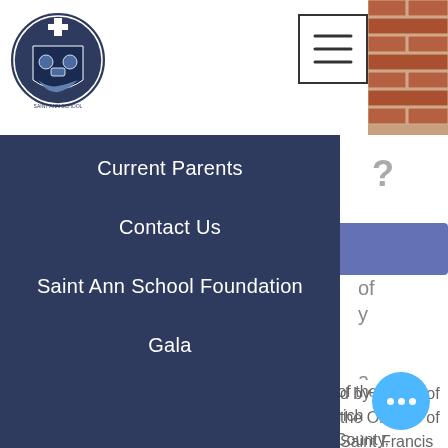[Figure (logo): Saint Ann School circular crest/shield logo in blue and white]
[Figure (screenshot): Hamburger menu button icon with three horizontal lines inside a square border]
[Figure (photo): Partial brick wall photo in top right corner]
Current Parents
Contact Us
Saint Ann School Foundation
Gala
Give Now
Alumni
ministry of Saint Ann parish staffed by priests of the Oblates of Saint Francis de Sales, we have a rich history as one of the oldest schools in Collier County, and have the support of parishioners and others in the faith community.